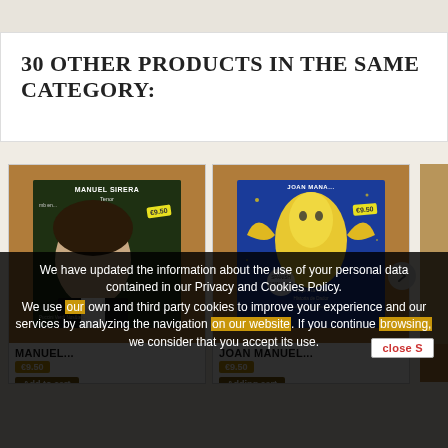30 OTHER PRODUCTS IN THE SAME CATEGORY:
[Figure (photo): CD product photo: Manuel Sirera tenor album with price sticker]
MANUEL...
[Figure (photo): CD product photo: Joan Manuel album with colorful illustrated cover and price sticker]
JOAN MANUEL...
VA
Add to cart
Adding cart
A
We have updated the information about the use of your personal data contained in our Privacy and Cookies Policy.
We use our own and third party cookies to improve your experience and our services by analyzing the navigation on our website. If you continue browsing, we consider that you accept its use.
close